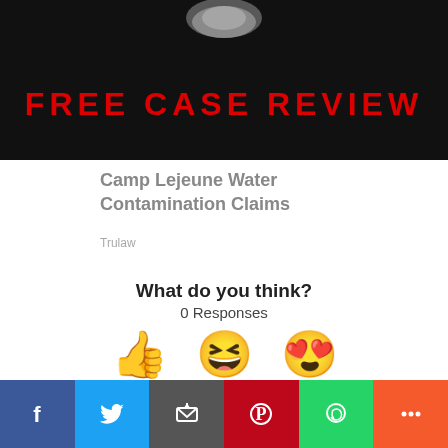[Figure (photo): Advertisement banner with dark background and red bold text reading FREE CASE REVIEW with metallic objects at top]
Camp Lejeune Water Contamination Claims
Trulaw
What do you think?
0 Responses
[Figure (infographic): Three emoji reaction buttons: thumbs up (Upvote), laughing face with tongue (Funny), heart-eyes face (Love)]
[Figure (infographic): Three more emoji reaction buttons partially visible at bottom]
[Figure (infographic): Social sharing bar with Facebook, Twitter, Email, Pinterest, WhatsApp, and More buttons]